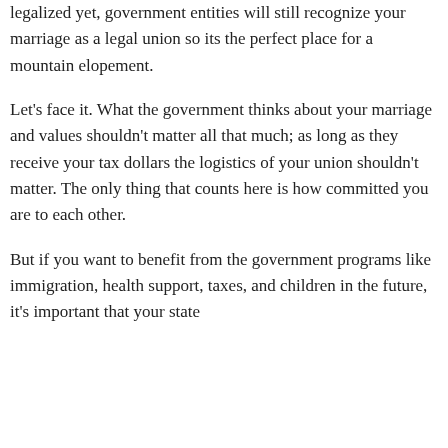Yet, even if you live in a state where the process is not legalized yet, government entities will still recognize your marriage as a legal union so its the perfect place for a mountain elopement.
Let's face it. What the government thinks about your marriage and values shouldn't matter all that much; as long as they receive your tax dollars the logistics of your union shouldn't matter. The only thing that counts here is how committed you are to each other.
But if you want to benefit from the government programs like immigration, health support, taxes, and children in the future, it's important that your state